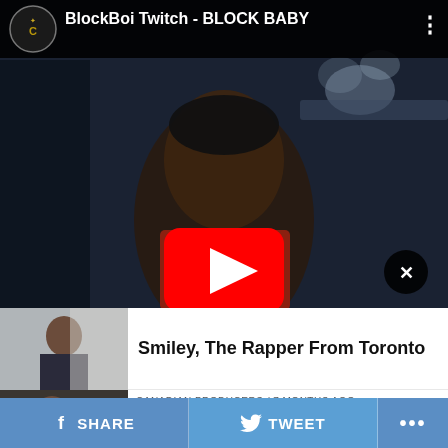[Figure (screenshot): YouTube video thumbnail for 'BlockBoi Twitch - BLOCK BABY' showing a young man smoking in a car, wearing a BAPE jacket. Red YouTube play button overlay in center. Black top bar with channel logo and video title. Close (X) button bottom right.]
[Figure (photo): Thumbnail image of a man (Smiley, a rapper from Toronto) sitting indoors]
Smiley, The Rapper From Toronto
[Figure (photo): Thumbnail image of DJ Charlie B, a man with a beard sitting at a desk]
CANADIAN PRODUCERS / 7 months ago
DJ Charlie B From Toronto Is Known For His Involvement In Music
SHARE   TWEET   ...